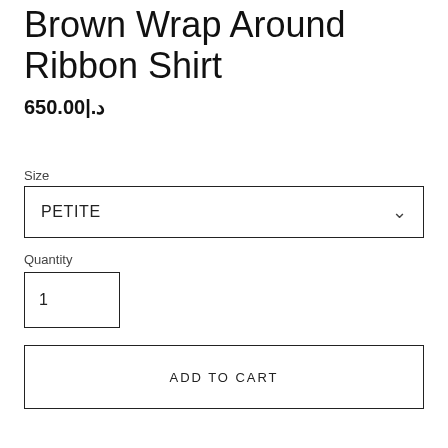Brown Wrap Around Ribbon Shirt
650.00|.د
Size
PETITE
Quantity
1
ADD TO CART